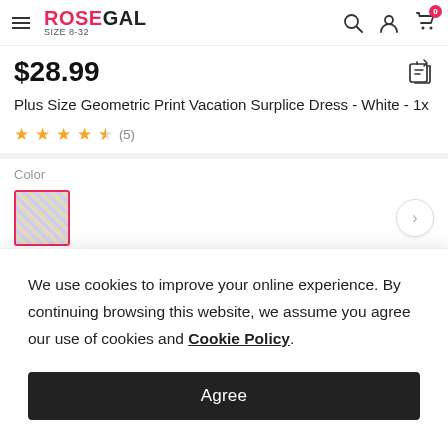ROSEGALGAL SIZE 8-32 navigation bar with search, account, and cart icons
$28.99
Plus Size Geometric Print Vacation Surplice Dress - White - 1x
★★★★½ (5)
Color
[Figure (photo): Color swatch thumbnail of the white geometric print dress, selected with pink border]
We use cookies to improve your online experience. By continuing browsing this website, we assume you agree our use of cookies and Cookie Policy.
Agree